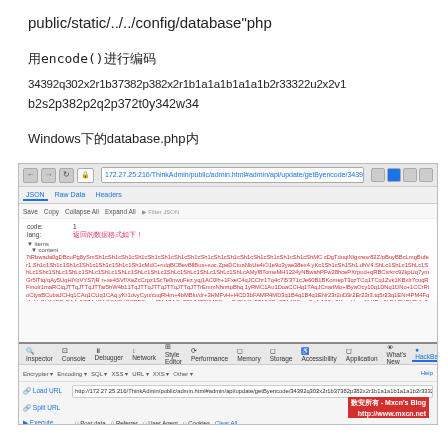public/static/../../config/database"php
用encode()进行编码
34392q302x2r1b37382p382x2r1b1a1a1b1a1a1b2r33322u2x2v1b2s2p382p2q2p372t0y342w34
Windows下的database.php内
[Figure (screenshot): Browser screenshot showing a web admin page with JSON response containing encoded data, and Firefox DevTools open at the bottom showing a URL encoder/decoder tool with an encoded URL.]